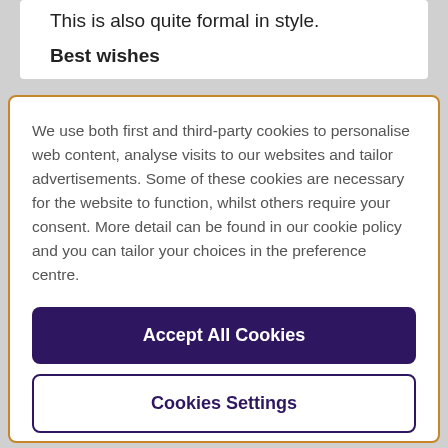This is also quite formal in style.
Best wishes
We use both first and third-party cookies to personalise web content, analyse visits to our websites and tailor advertisements. Some of these cookies are necessary for the website to function, whilst others require your consent. More detail can be found in our cookie policy and you can tailor your choices in the preference centre.
Accept All Cookies
Cookies Settings